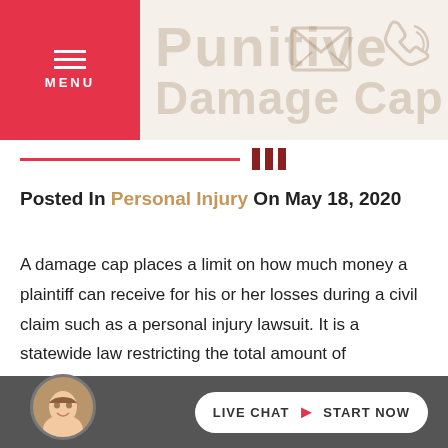[Figure (illustration): Website header with red menu button on left showing hamburger icon and MENU text, decorative large text 'Punitive Damage Cap' in muted tan color with envelope and phone watermark icons]
Posted In Personal Injury On May 18, 2020
A damage cap places a limit on how much money a plaintiff can receive for his or her losses during a civil claim such as a personal injury lawsuit. It is a statewide law restricting the total amount of compensation an accident victim can recover. Not all states have damage caps. Those that do
[Figure (photo): Live chat footer bar with avatar photo of smiling woman and LIVE CHAT > START NOW button]